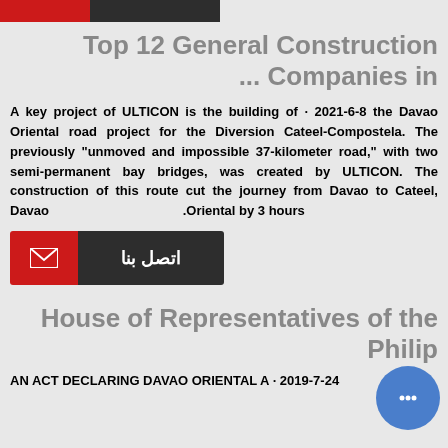[Figure (logo): Red and dark gray horizontal bar logo/header strip]
Top 12 General Construction ... Companies in
A key project of ULTICON is the building of the Davao Oriental road project for the Diversion Cateel-Compostela. The previously "unmoved and impossible 37-kilometer road," with two semi-permanent bay bridges, was created by ULTICON. The construction of this route cut the journey from Davao to Cateel, Davao Oriental by 3 hours. · 2021-6-8
[Figure (infographic): Contact button with red mail icon and dark gray Arabic text 'اتصل بنا']
House of Representatives of the Philip...
AN ACT DECLARING DAVAO ORIENTAL A · 2019-7-24